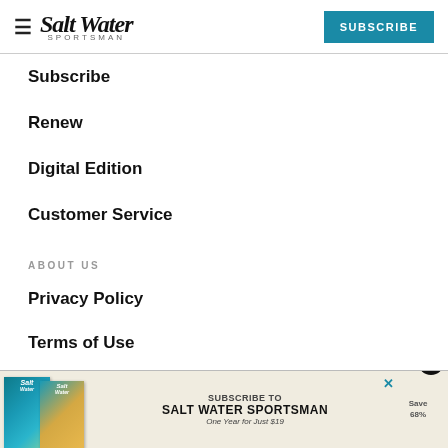Salt Water Sportsman — SUBSCRIBE
Subscribe
Renew
Digital Edition
Customer Service
ABOUT US
Privacy Policy
Terms of Use
Abuse
Cont…
Care…
[Figure (screenshot): Advertisement banner for Salt Water Sportsman subscription: 'SUBSCRIBE TO SALT WATER SPORTSMAN — One Year for Just $19, Save 68%']